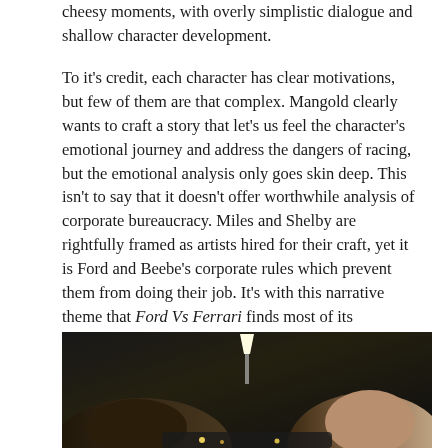cheesy moments, with overly simplistic dialogue and shallow character development.
To it's credit, each character has clear motivations, but few of them are that complex. Mangold clearly wants to craft a story that let's us feel the character's emotional journey and address the dangers of racing, but the emotional analysis only goes skin deep. This isn't to say that it doesn't offer worthwhile analysis of corporate bureaucracy. Miles and Shelby are rightfully framed as artists hired for their craft, yet it is Ford and Beebe's corporate rules which prevent them from doing their job. It's with this narrative theme that Ford Vs Ferrari finds most of its complexity.
[Figure (photo): Dark cinematic still from Ford Vs Ferrari showing two men leaning over a car in a dimly lit garage, with a bright lamp light between them in the background]